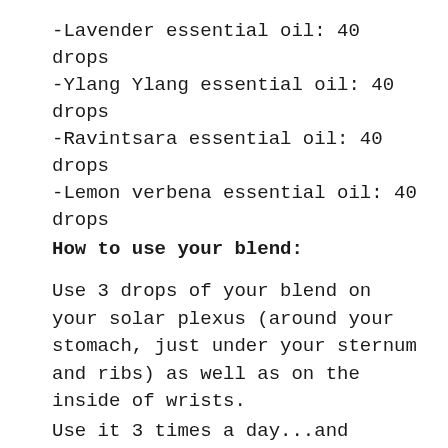-Lavender essential oil: 40 drops
-Ylang Ylang essential oil: 40 drops
-Ravintsara essential oil: 40 drops
-Lemon verbena essential oil: 40 drops
How to use your blend:
Use 3 drops of your blend on your solar plexus (around your stomach, just under your sternum and ribs) as well as on the inside of wrists.
Use it 3 times a day...and breath slowly and